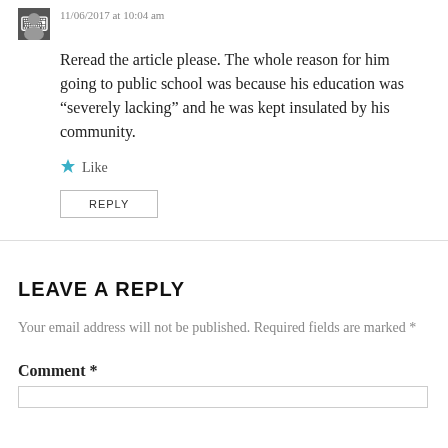11/06/2017 at 10:04 am
Reread the article please. The whole reason for him going to public school was because his education was “severely lacking” and he was kept insulated by his community.
Like
REPLY
LEAVE A REPLY
Your email address will not be published. Required fields are marked *
Comment *